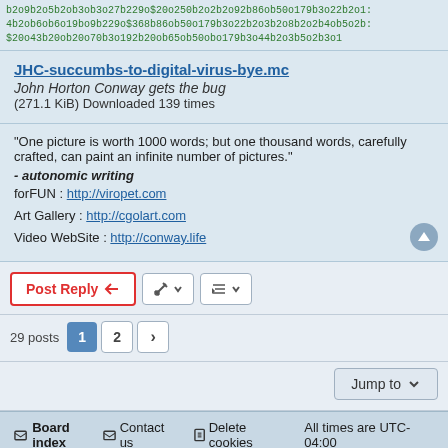b2o9b2o5b2ob3ob3o27b229o$20o250b2o2b2o92b86ob50o179b3o22b2o1: 4b2ob6ob6o19bo9b229o$368b86ob50o179b3o22b2o3b2o8b2o2b4ob5o2b: $20o43b20ob20o70b3o192b20ob65ob50obo179b3o44b2o3b5o2b3o1
JHC-succumbs-to-digital-virus-bye.mc
John Horton Conway gets the bug
(271.1 KiB) Downloaded 139 times
"One picture is worth 1000 words; but one thousand words, carefully crafted, can paint an infinite number of pictures."
- autonomic writing
forFUN : http://viropet.com
Art Gallery : http://cgolart.com
Video WebSite : http://conway.life
Post Reply
29 posts  1  2
Jump to
Board index  Contact us  Delete cookies  All times are UTC-04:00
Powered by phpBB® Forum Software © phpBB Limited
Privacy | Terms | Created by Nathaniel Johnston | Hosted by PlatPrices